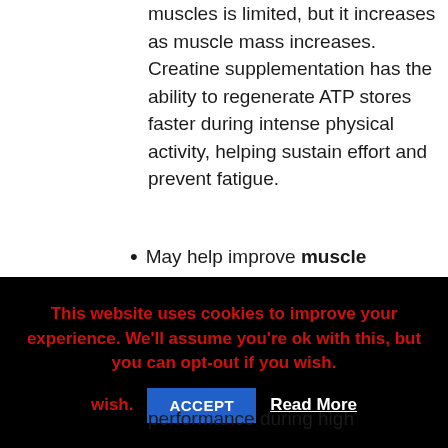muscles is limited, but it increases as muscle mass increases. Creatine supplementation has the ability to regenerate ATP stores faster during intense physical activity, helping sustain effort and prevent fatigue.
May help improve muscle performance during high
This website uses cookies to improve your experience. We'll assume you're ok with this, but you can opt-out if you wish. ACCEPT Read More